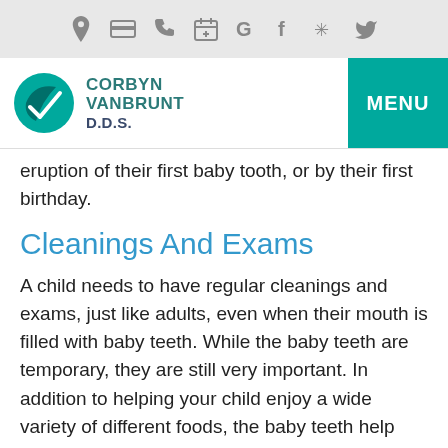[icon bar: location, card, phone, calendar, Google, Facebook, Yelp, Twitter]
[Figure (logo): Corbyn VanBrunt D.D.S. logo with teal leaf icon]
eruption of their first baby tooth, or by their first birthday.
Cleanings And Exams
A child needs to have regular cleanings and exams, just like adults, even when their mouth is filled with baby teeth. While the baby teeth are temporary, they are still very important. In addition to helping your child enjoy a wide variety of different foods, the baby teeth help your child develop proper speech patterns. They also serve as space holders for the adult teeth developing underneath.